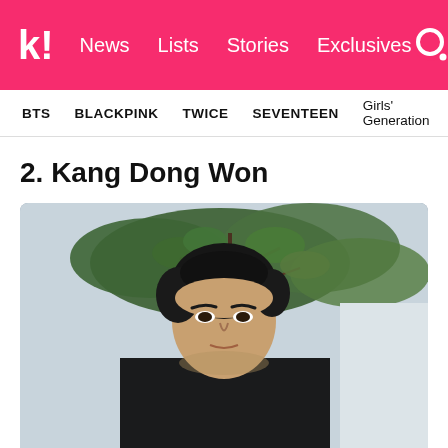k! News Lists Stories Exclusives
BTS BLACKPINK TWICE SEVENTEEN Girls' Generation
2. Kang Dong Won
[Figure (photo): Portrait photo of Kang Dong Won in a black outfit, with trees and green leaves visible in the background]